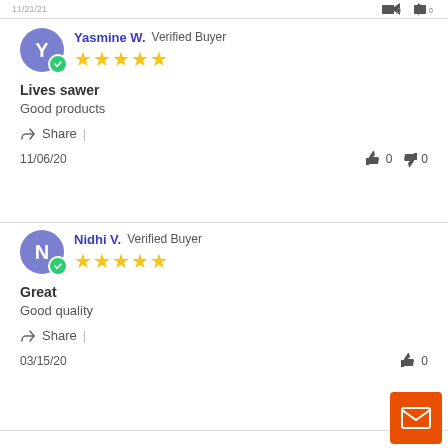Yasmine W. Verified Buyer ★★★★★
Lives sawer
Good products
Share
11/06/20   👍 0  👎 0
Nidhi V. Verified Buyer ★★★★★
Great
Good quality
Share
03/15/20   👍 0